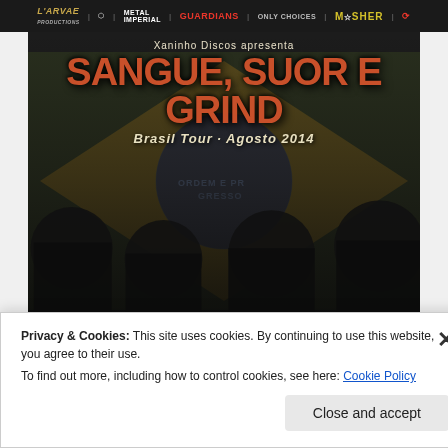Larvae Productions | Metal Imperial | Guardians | Only Choices | Mosher
[Figure (photo): Concert poster for 'Sangue, Suor e Grind - Brasil Tour Agosto 2014' presented by Xaninho Discos. Four long-haired metal band members standing together against a distressed Brazilian flag background, faces and bodies marked with stage blood. Bold orange-red title text SANGUE, SUOR E GRIND with white subtitle Brasil Tour Agosto 2014.]
Privacy & Cookies: This site uses cookies. By continuing to use this website, you agree to their use.
To find out more, including how to control cookies, see here: Cookie Policy
Close and accept